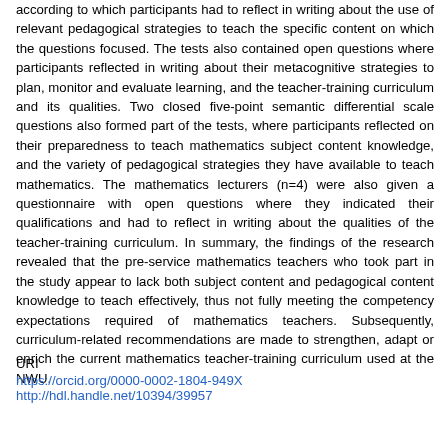according to which participants had to reflect in writing about the use of relevant pedagogical strategies to teach the specific content on which the questions focused. The tests also contained open questions where participants reflected in writing about their metacognitive strategies to plan, monitor and evaluate learning, and the teacher-training curriculum and its qualities. Two closed five-point semantic differential scale questions also formed part of the tests, where participants reflected on their preparedness to teach mathematics subject content knowledge, and the variety of pedagogical strategies they have available to teach mathematics. The mathematics lecturers (n=4) were also given a questionnaire with open questions where they indicated their qualifications and had to reflect in writing about the qualities of the teacher-training curriculum. In summary, the findings of the research revealed that the pre-service mathematics teachers who took part in the study appear to lack both subject content and pedagogical content knowledge to teach effectively, thus not fully meeting the competency expectations required of mathematics teachers. Subsequently, curriculum-related recommendations are made to strengthen, adapt or enrich the current mathematics teacher-training curriculum used at the NWU.
URI
https://orcid.org/0000-0002-1804-949X
http://hdl.handle.net/10394/39957